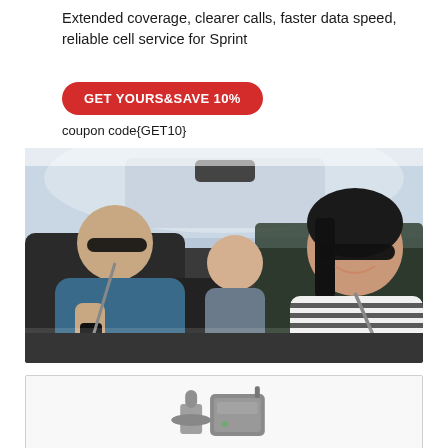Extended coverage, clearer calls, faster data speed, reliable cell service for Sprint
GET YOURS&SAVE 10%
coupon code{GET10}
[Figure (photo): Family of three in a car — man in driver seat holding phone, child in back seat, woman in passenger seat wearing sunglasses and striped shirt, all smiling]
[Figure (photo): Cell signal booster product components — antenna and device unit shown on light gray background inside a bordered box]